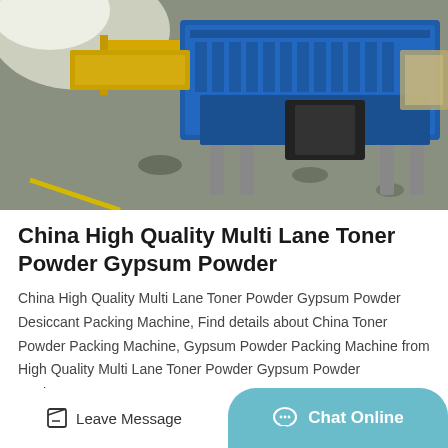[Figure (photo): Industrial blue machinery/packing machine on a factory floor with grey concrete floor and yellow safety line]
China High Quality Multi Lane Toner Powder Gypsum Powder
China High Quality Multi Lane Toner Powder Gypsum Powder Desiccant Packing Machine, Find details about China Toner Powder Packing Machine, Gypsum Powder Packing Machine from High Quality Multi Lane Toner Powder Gypsum Powder Desiccant…
Get Price
Leave Message
Chat Online